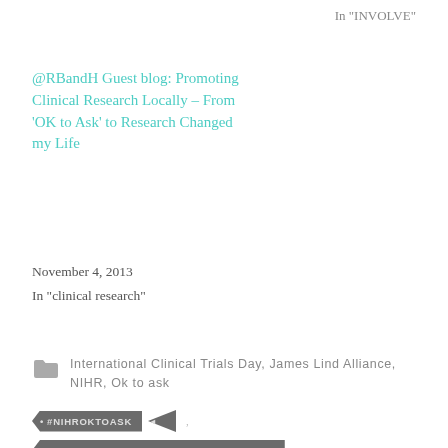In "INVOLVE"
@RBandH Guest blog: Promoting Clinical Research Locally – From 'OK to Ask' to Research Changed my Life
November 4, 2013
In "clinical research"
International Clinical Trials Day, James Lind Alliance, NIHR, Ok to ask
#NIHROKTOASK
'PROMOTING A RESEARCH ACTIVE NATION
CF TRUST
JAMES LIND